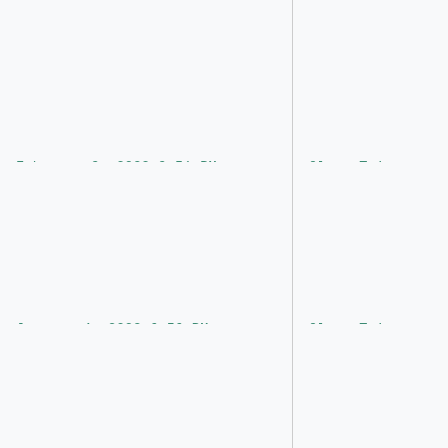February 9, 2022 9:51 PM
Olson Twins
Jul
Ch
January 4, 2022 6:56 PM
Olson Twins
January 3, 2022 1:22 PM
El Ocho V...
A